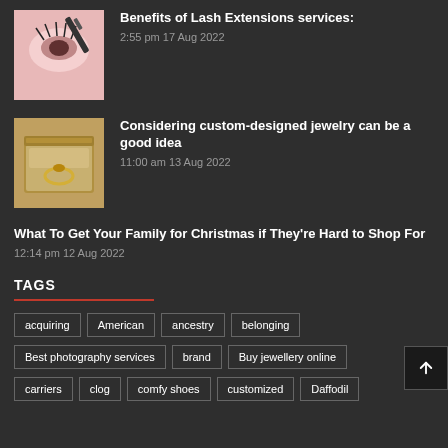[Figure (photo): Thumbnail image of eyelash extension with mascara brush]
Benefits of Lash Extensions services:
2:55 pm 17 Aug 2022
[Figure (photo): Thumbnail image of a ring in a jewelry box]
Considering custom-designed jewelry can be a good idea
11:00 am 13 Aug 2022
What To Get Your Family for Christmas if They're Hard to Shop For
12:14 pm 12 Aug 2022
TAGS
acquiring
American
ancestry
belonging
Best photography services
brand
Buy jewellery online
carriers
clog
comfy shoes
customized
Daffodil